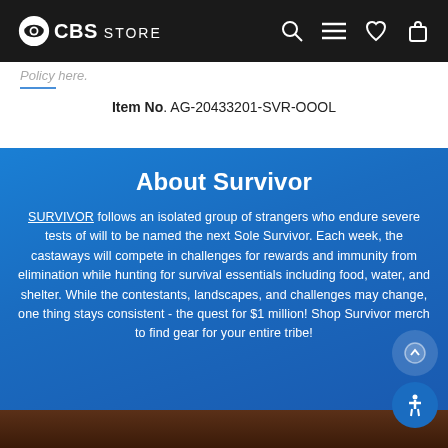CBS STORE
Policy here.
Item No. AG-20433201-SVR-OOOL
About Survivor
SURVIVOR follows an isolated group of strangers who endure severe tests of will to be named the next Sole Survivor. Each week, the castaways will compete in challenges for rewards and immunity from elimination while hunting for survival essentials including food, water, and shelter. While the contestants, landscapes, and challenges may change, one thing stays consistent - the quest for $1 million! Shop Survivor merch to find gear for your entire tribe!
[Figure (photo): Bottom strip showing a Survivor scene with orange/brown tones]